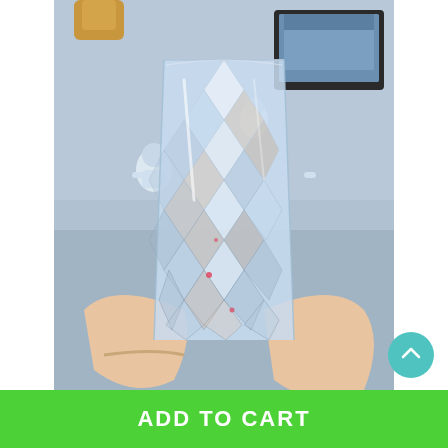[Figure (photo): A person holding a clear crystal-cut glass vase with a faceted diamond pattern surface. In the background there is a desk with astronaut figurines, a small toy, and an open laptop displaying an image. The photo has a gray-blue background.]
ADD TO CART